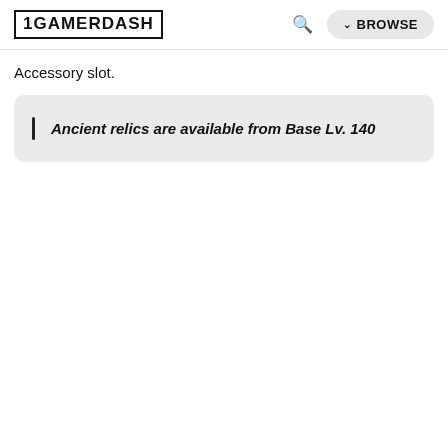1GAMERDASH  🔍  ∨ BROWSE
Accessory slot.
Ancient relics are available from Base Lv. 140